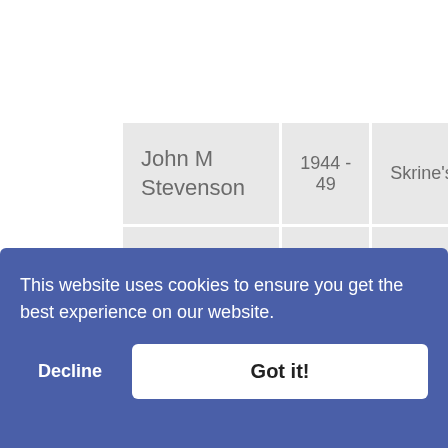| Name | Years | House |
| --- | --- | --- |
| John M Stevenson | 1944 - 49 | Skrine's |
| James F Macintyre | 1961 - 66 | Matheson's |
| David G Sibbald | 1961 - 66 | Skrine's |
| Carol Sibbald |  |  |
| Malcolm |  |  |
This website uses cookies to ensure you get the best experience on our website.